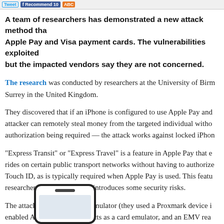Tweet | Recommend 10 | ABC
A team of researchers has demonstrated a new attack method that targets Apple Pay and Visa payment cards. The vulnerabilities exploited are real, but the impacted vendors say they are not concerned.
The research was conducted by researchers at the University of Birmingham and Surrey in the United Kingdom.
They discovered that if an iPhone is configured to use Apple Pay and Visa, an attacker can remotely steal money from the targeted individual without any authorization being required — the attack works against locked iPhones.
"Express Transit" or "Express Travel" is a feature in Apple Pay that enables rides on certain public transport networks without having to authorize with Touch ID, as is typically required when Apple Pay is used. This feature, researchers found that it also introduces some security risks.
The attack requires a reader emulator (they used a Proxmark device in their tests), an enabled Android phone that acts as a card emulator, and an EMV reader. The attacker places the reader emulator close to the targeted iPhone — this can be done while standing near the victim, or the attack is launched on a lost or stolen device.
[Figure (illustration): Illustration of a smartphone (iPhone) showing the device front face with speaker and screen visible]